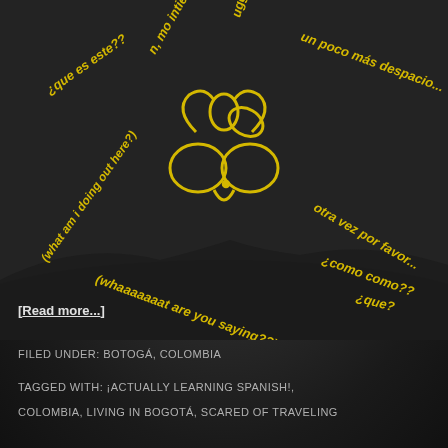[Figure (illustration): Dark background image with a yellow cartoon confused face/brain character in the center, surrounded by yellow italicized text phrases radiating outward in various angles: '¿que es este??', 'n, mo intiendo...', 'uggggg...', 'un poco más despacio...', '(what am i doing out here?)', 'otra vez por favor...', '¿como como??', '¿que?', '(whaaaaaaat are you saying??)', all in yellow italic font on dark background suggesting confusion while learning Spanish]
[Read more...]
FILED UNDER: BOTOGÁ, COLOMBIA
TAGGED WITH: ¡ACTUALLY LEARNING SPANISH!,
COLOMBIA, LIVING IN BOGOTÁ, SCARED OF TRAVELING